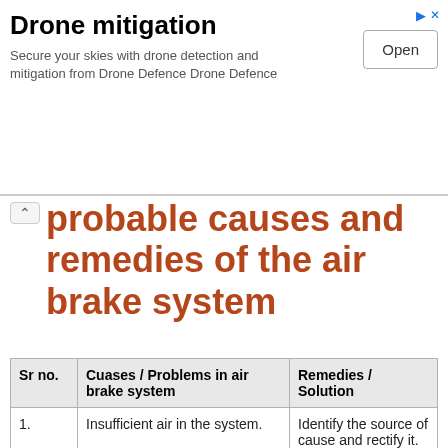[Figure (other): Advertisement banner for Drone Defence drone detection and mitigation product. Contains title 'Drone mitigation', subtitle text, and an 'Open' button.]
probable causes and remedies of the air brake system
| Sr no. | Cuases / Problems in air brake system | Remedies / Solution |
| --- | --- | --- |
| 1. | Insufficient air in the system. | Identify the source of cause and rectify it. |
| 2. | Brake shoes worn out | Repair or replace |
| 3. | No air pressure in brake system | Identify the source of cause and rectify it |